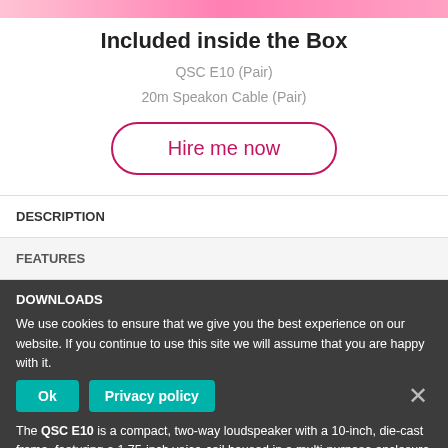Included inside the Box
QSC E10 (Pair)
20m Speakon Cable (Pair)
Hire me now
DESCRIPTION
FEATURES
DOWNLOADS
We use cookies to ensure that we give you the best experience on our website. If you continue to use this site we will assume that you are happy with it.
The QSC E10 is a compact, two-way loudspeaker with a 10-inch, die-cast frame, featuring a 1.75-inch voice-coil housed in a multi-purpose enclosure that's at home in